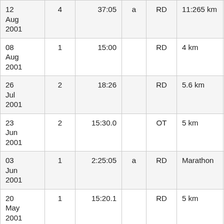| Date |  | Time |  | Type | Distance |  |
| --- | --- | --- | --- | --- | --- | --- |
| 12 Aug 2001 | 4 | 37:05 | a | RD | 11:265 km | M |
| 08 Aug 2001 | 1 | 15:00 |  | RD | 4 km | C O |
| 26 Jul 2001 | 2 | 18:26 |  | RD | 5.6 km | C I |
| 23 Jun 2001 | 2 | 15:30.0 |  | OT | 5 km | N |
| 03 Jun 2001 | 1 | 2:25:05 | a | RD | Marathon | S C |
| 20 May 2001 | 1 | 15:20.1 |  | RD | 5 km | C |